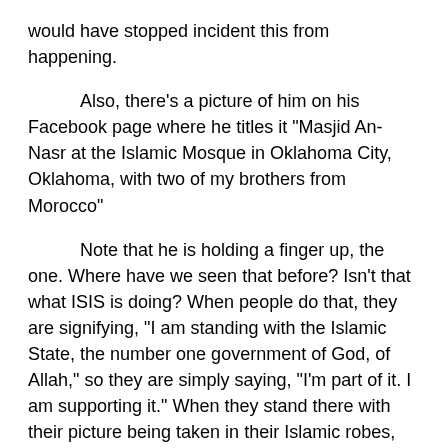would have stopped incident this from happening.
Also, there's a picture of him on his Facebook page where he titles it "Masjid An-Nasr at the Islamic Mosque in Oklahoma City, Oklahoma, with two of my brothers from Morocco"
Note that he is holding a finger up, the one. Where have we seen that before? Isn't that what ISIS is doing? When people do that, they are signifying, "I am standing with the Islamic State, the number one government of God, of Allah," so they are simply saying, "I'm part of it. I am supporting it." When they stand there with their picture being taken in their Islamic robes, holding the index finger up, they're saying, "One state, Islamic state, one government, the Caliphate."
We know from witnesses that he was shouting Islamic